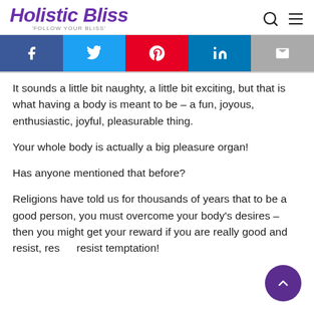Holistic Bliss — 'FOLLOW YOUR BLISS'
[Figure (other): Social sharing buttons: Facebook (blue), Twitter (light blue), Pinterest (red), LinkedIn (blue), Email (grey)]
It sounds a little bit naughty, a little bit exciting, but that is what having a body is meant to be – a fun, joyous, enthusiastic, joyful, pleasurable thing.
Your whole body is actually a big pleasure organ!
Has anyone mentioned that before?
Religions have told us for thousands of years that to be a good person, you must overcome your body's desires – then you might get your reward if you are really good and resist, resist, resist temptation!